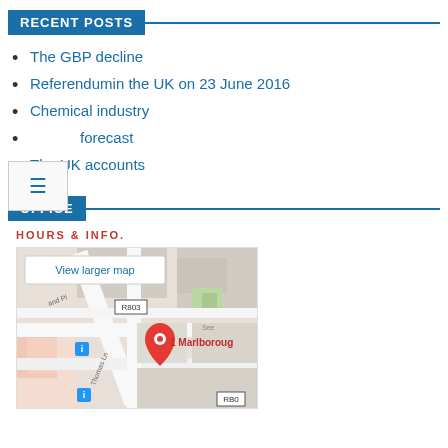RECENT POSTS
The GBP decline
Referendumin the UK on 23 June 2016
Chemical industry
forecast
The UK accounts
OFFICE
HOURS & INFO.
[Figure (map): Google Maps screenshot showing 1 Marlborough location with a red pin marker, street map view with roads including R803, Thomas Ln, and surrounding area. A 'View larger map' tooltip is visible.]